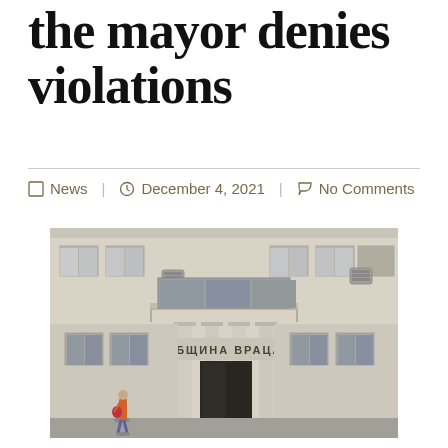the mayor denies violations
News  |  December 4, 2021  |  No Comments
[Figure (photo): Exterior facade of a government building labeled 'ОБЩИНА ВРАЦА' (Municipality of Vratsa), a multi-story white/beige classical building with columns, balcony, air conditioning units, and a person walking in front.]